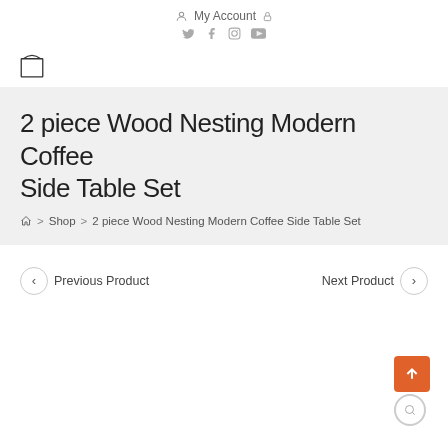My Account
2 piece Wood Nesting Modern Coffee Side Table Set
Home > Shop > 2 piece Wood Nesting Modern Coffee Side Table Set
Previous Product
Next Product